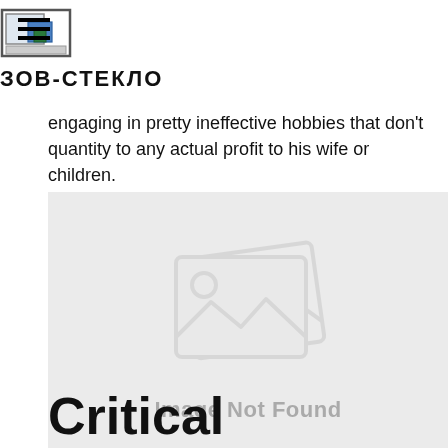ЗОВ-СТЕКЛО
engaging in pretty ineffective hobbies that don't quantity to any actual profit to his wife or children.
[Figure (photo): Image Not Found placeholder with stacked photo icons]
Critical